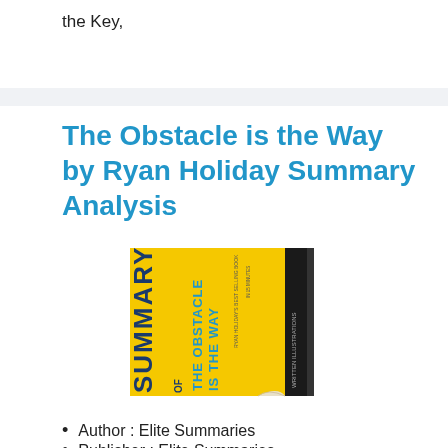the Key,
The Obstacle is the Way by Ryan Holiday Summary Analysis
[Figure (photo): Book cover of 'Summary of The Obstacle is the Way' by Elite Summaries — yellow cover with bold text, black spine]
Author : Elite Summaries
Publisher : Elite Summaries